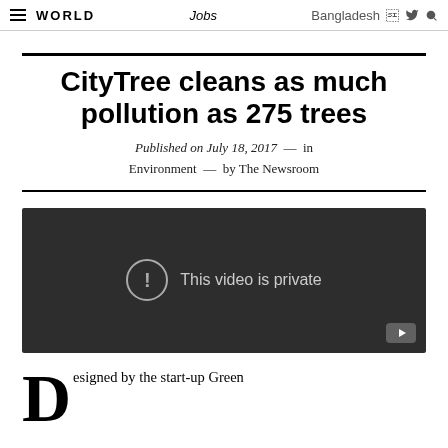WORLD | Jobs | Bangladesh
CityTree cleans as much pollution as 275 trees
Published on July 18, 2017 — in Environment — by The Newsroom
[Figure (screenshot): Embedded video player showing 'This video is private' message with a circular exclamation icon and YouTube play button]
Designed by the start-up Green